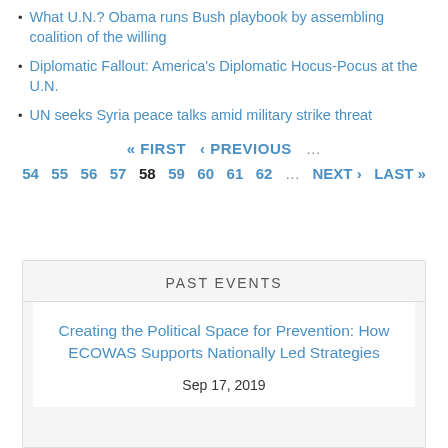What U.N.? Obama runs Bush playbook by assembling coalition of the willing
Diplomatic Fallout: America's Diplomatic Hocus-Pocus at the U.N.
UN seeks Syria peace talks amid military strike threat
« FIRST  ‹ PREVIOUS  …
54  55  56  57  58  59  60  61  62  …  NEXT ›  LAST »
PAST EVENTS
Creating the Political Space for Prevention: How ECOWAS Supports Nationally Led Strategies
Sep 17, 2019